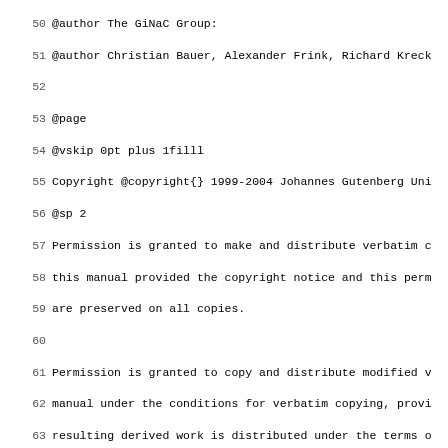Source code listing: lines 50-82 of a GiNaC Texinfo documentation file showing @author, @page, @vskip, copyright, permission notices, @end titlepage, @contents, @node, @top, and @menu directives.